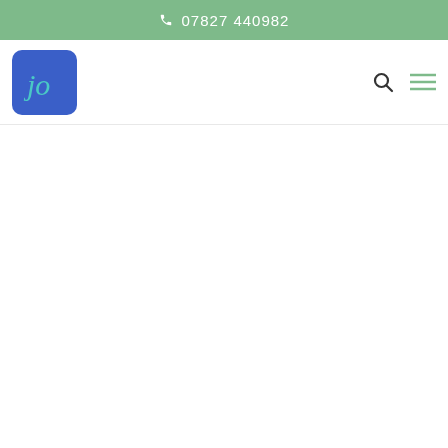07827 440982
[Figure (logo): Blue rounded square logo with cursive 'jo' text in teal]